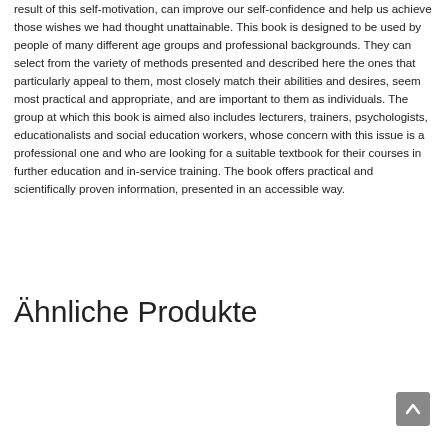result of this self-motivation, can improve our self-confidence and help us achieve those wishes we had thought unattainable. This book is designed to be used by people of many different age groups and professional backgrounds. They can select from the variety of methods presented and described here the ones that particularly appeal to them, most closely match their abilities and desires, seem most practical and appropriate, and are important to them as individuals. The group at which this book is aimed also includes lecturers, trainers, psychologists, educationalists and social education workers, whose concern with this issue is a professional one and who are looking for a suitable textbook for their courses in further education and in-service training. The book offers practical and scientifically proven information, presented in an accessible way.
Ähnliche Produkte